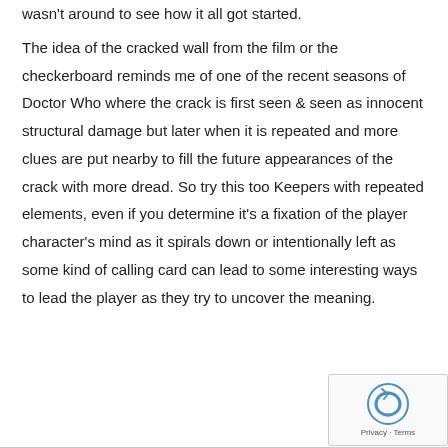wasn't around to see how it all got started.
The idea of the cracked wall from the film or the checkerboard reminds me of one of the recent seasons of Doctor Who where the crack is first seen & seen as innocent structural damage but later when it is repeated and more clues are put nearby to fill the future appearances of the crack with more dread. So try this too Keepers with repeated elements, even if you determine it's a fixation of the player character's mind as it spirals down or intentionally left as some kind of calling card can lead to some interesting ways to lead the player as they try to uncover the meaning.